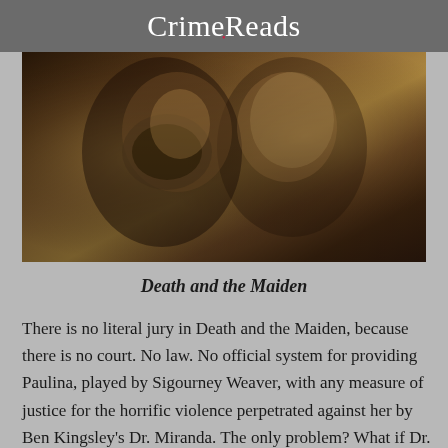CrimeReads
[Figure (photo): Two people in a tense confrontation scene from the film Death and the Maiden — one figure wearing a cloth mask close to another person's face]
Death and the Maiden
There is no literal jury in Death and the Maiden, because there is no court. No law. No official system for providing Paulina, played by Sigourney Weaver, with any measure of justice for the horrific violence perpetrated against her by Ben Kingsley's Dr. Miranda. The only problem? What if Dr. Miranda has been